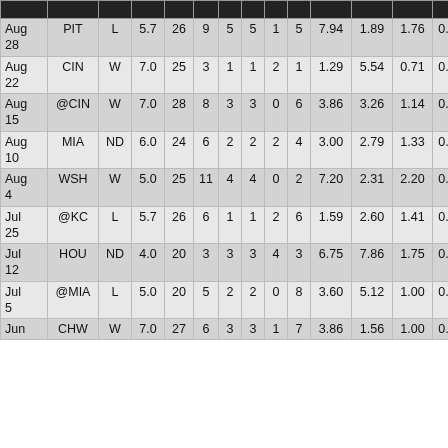| Date | Opp | Dec | IP | BF | H | R | ER | BB | K | ERA | FIP | WHIP | HR/9 |
| --- | --- | --- | --- | --- | --- | --- | --- | --- | --- | --- | --- | --- | --- |
| Aug 28 | PIT | L | 5.7 | 26 | 9 | 5 | 5 | 1 | 5 | 7.94 | 1.89 | 1.76 | 0.474 |
| Aug 22 | CIN | W | 7.0 | 25 | 3 | 1 | 1 | 2 | 1 | 1.29 | 5.54 | 0.71 | 0.095 |
| Aug 15 | @CIN | W | 7.0 | 28 | 8 | 3 | 3 | 0 | 6 | 3.86 | 3.26 | 1.14 | 0.333 |
| Aug 10 | MIA | ND | 6.0 | 24 | 6 | 2 | 2 | 2 | 4 | 3.00 | 2.79 | 1.33 | 0.333 |
| Aug 4 | WSH | W | 5.0 | 25 | 11 | 4 | 4 | 0 | 2 | 7.20 | 2.31 | 2.20 | 0.478 |
| Jul 25 | @KC | L | 5.7 | 26 | 6 | 1 | 1 | 2 | 6 | 1.59 | 2.60 | 1.41 | 0.353 |
| Jul 12 | HOU | ND | 4.0 | 20 | 3 | 3 | 3 | 4 | 3 | 6.75 | 7.86 | 1.75 | 0.167 |
| Jul 5 | @MIA | L | 5.0 | 20 | 5 | 2 | 2 | 0 | 8 | 3.60 | 5.12 | 1.00 | 0.300 |
| Jun | CHW | W | 7.0 | 27 | 6 | 3 | 3 | 1 | 7 | 3.86 | 1.56 | 1.00 | 0.316 |